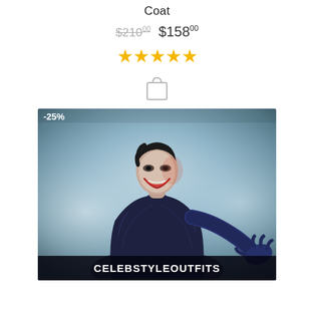Coat
$210⁰⁰  $158⁰⁰
[Figure (other): Five gold star rating icons]
[Figure (other): Shopping bag / cart icon (outline)]
[Figure (photo): Person wearing a dark coat with gloves, smiling, against a misty background. A -25% discount badge is in the top-left corner. The brand name CELEBSTYLEOUTFITS appears in a dark bar at the bottom of the image.]